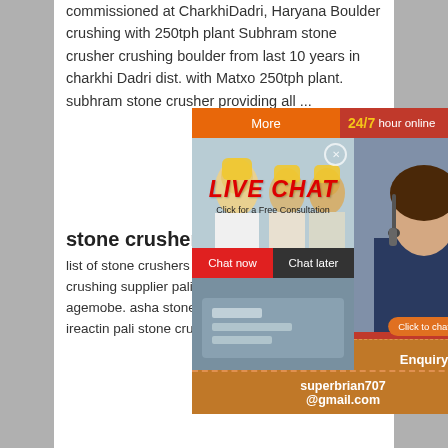commissioned at CharkhiDadri, Haryana Boulder crushing with 250tph plant Subhram stone crusher crushing boulder from last 10 years in charkhi Dadri dist. with Matxo 250tph plant. subhram stone crusher providing all ...
[Figure (infographic): Live chat advertisement overlay with workers in yellow hard hats, 'LIVE CHAT Click for a Free Consultation', Chat now/Chat later buttons, 24/7 hour online panel with customer service agent, Enquiry section, and contact email superbrian707@gmail.com. Also shows a 'More' button and orange/red UI elements.]
stone crushers in pali
list of stone crushers in pali faridabadstone crushing supplier pali faridabad haryana agemobe. asha stone crusher pali haryana ireactin pali stone crusher association stone